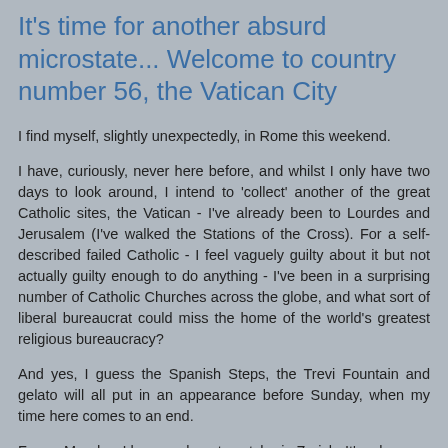It's time for another absurd microstate... Welcome to country number 56, the Vatican City
I find myself, slightly unexpectedly, in Rome this weekend.
I have, curiously, never here before, and whilst I only have two days to look around, I intend to 'collect' another of the great Catholic sites, the Vatican - I've already been to Lourdes and Jerusalem (I've walked the Stations of the Cross). For a self-described failed Catholic - I feel vaguely guilty about it but not actually guilty enough to do anything - I've been in a surprising number of Catholic Churches across the globe, and what sort of liberal bureaucrat could miss the home of the world's greatest religious bureaucracy?
And yes, I guess the Spanish Steps, the Trevi Fountain and gelato will all put in an appearance before Sunday, when my time here comes to an end.
For on Monday, I have a plane to catch - in Zurich. It's a long...